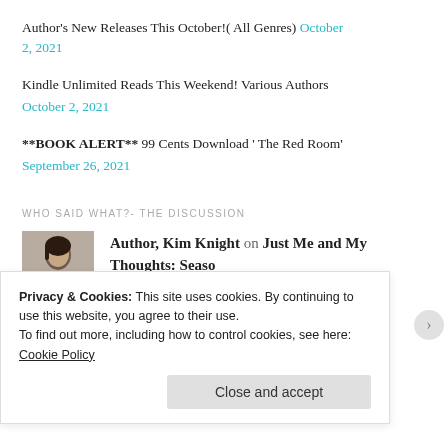Author's New Releases This October!( All Genres) October 2, 2021
Kindle Unlimited Reads This Weekend! Various Authors October 2, 2021
**BOOK ALERT** 99 Cents Download ‘ The Red Room’ September 26, 2021
WHO SAID WHAT?- THE DISCUSSION
Author, Kim Knight on Just Me and My Thoughts: Seaso
Privacy & Cookies: This site uses cookies. By continuing to use this website, you agree to their use.
To find out more, including how to control cookies, see here: Cookie Policy
Close and accept